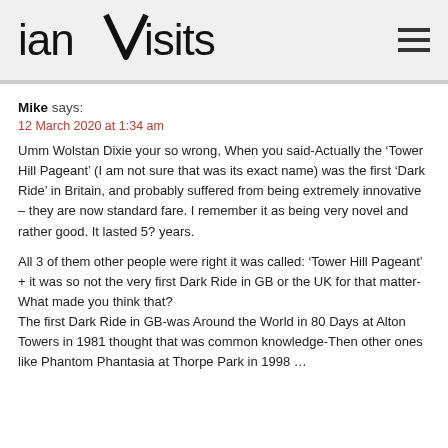ianVisits
Mike says:
12 March 2020 at 1:34 am
Umm Wolstan Dixie your so wrong, When you said-Actually the ‘Tower Hill Pageant’ (I am not sure that was its exact name) was the first ‘Dark Ride’ in Britain, and probably suffered from being extremely innovative – they are now standard fare. I remember it as being very novel and rather good. It lasted 5? years.
All 3 of them other people were right it was called: ‘Tower Hill Pageant’
+ it was so not the very first Dark Ride in GB or the UK for that matter-What made you think that?
The first Dark Ride in GB-was Around the World in 80 Days at Alton Towers in 1981 thought that was common knowledge-Then other ones like Phantom Phantasia at Thorpe Park in 1998 …